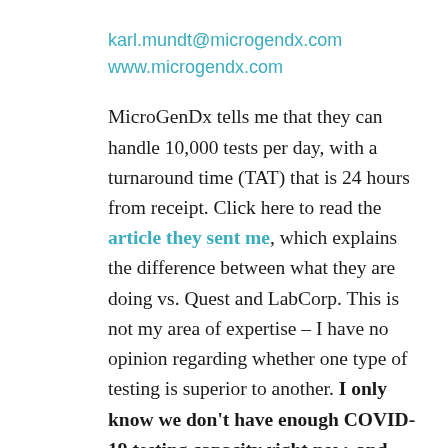karl.mundt@microgendx.com
www.microgendx.com
MicroGenDx tells me that they can handle 10,000 tests per day, with a turnaround time (TAT) that is 24 hours from receipt. Click here to read the article they sent me, which explains the difference between what they are doing vs. Quest and LabCorp. This is not my area of expertise – I have no opinion regarding whether one type of testing is superior to another. I only know we don't have enough COVID-19 testing capacity right now, and the tests we do have take too long. I am posting this because it might help a patient